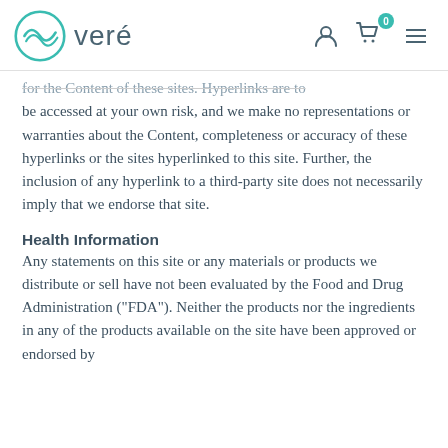veré
for the Content of these sites. Hyperlinks are to be accessed at your own risk, and we make no representations or warranties about the Content, completeness or accuracy of these hyperlinks or the sites hyperlinked to this site. Further, the inclusion of any hyperlink to a third-party site does not necessarily imply that we endorse that site.
Health Information
Any statements on this site or any materials or products we distribute or sell have not been evaluated by the Food and Drug Administration ("FDA"). Neither the products nor the ingredients in any of the products available on the site have been approved or endorsed by